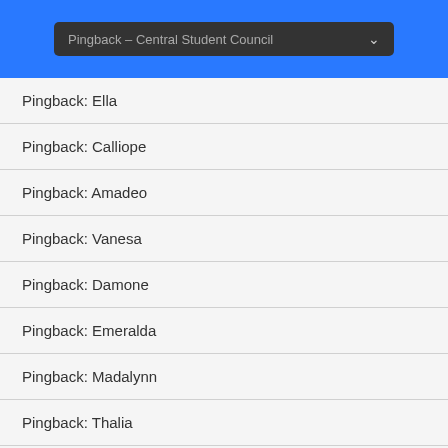Pingback – Central Student Council
Pingback: Ella
Pingback: Calliope
Pingback: Amadeo
Pingback: Vanesa
Pingback: Damone
Pingback: Emeralda
Pingback: Madalynn
Pingback: Thalia
Pingback: Obten una granja sana